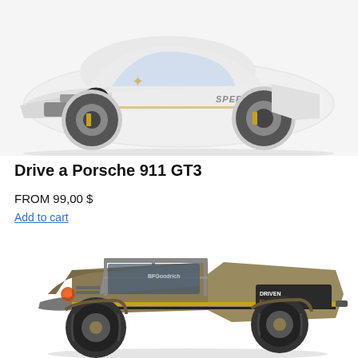[Figure (photo): White Porsche 911 GT3 sports car with SpeedVegas branding on the side, photographed from a front-three-quarter angle on a white background.]
Drive a Porsche 911 GT3
FROM 99,00 $
Add to cart
[Figure (photo): Gold/silver off-road trophy truck with BFGoodrich and Driven Experiences branding, photographed from a front-three-quarter angle.]